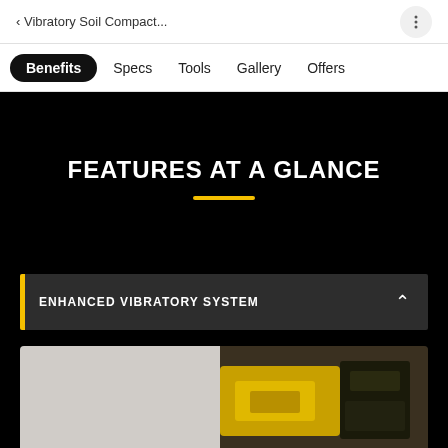< Vibratory Soil Compact...
Benefits | Specs | Tools | Gallery | Offers
FEATURES AT A GLANCE
ENHANCED VIBRATORY SYSTEM
[Figure (photo): Partial view of a yellow vibratory soil compactor machine on dark background]